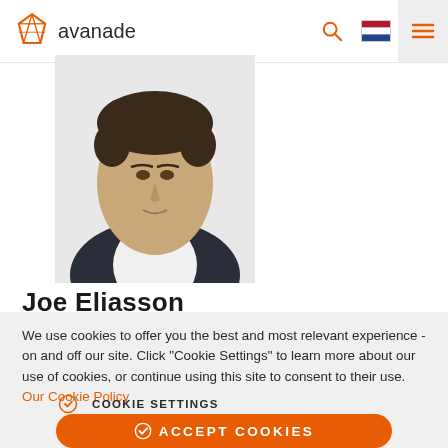[Figure (logo): Avanade logo with orange diamond/crystal icon and 'avanade' text in dark gray]
[Figure (photo): Circular profile photo of Joe Eliasson, a man in a white shirt and dark blazer]
Joe Eliasson
We use cookies to offer you the best and most relevant experience - on and off our site. Click "Cookie Settings" to learn more about our use of cookies, or continue using this site to consent to their use. Our Cookie Policy
COOKIE SETTINGS
ACCEPT COOKIES